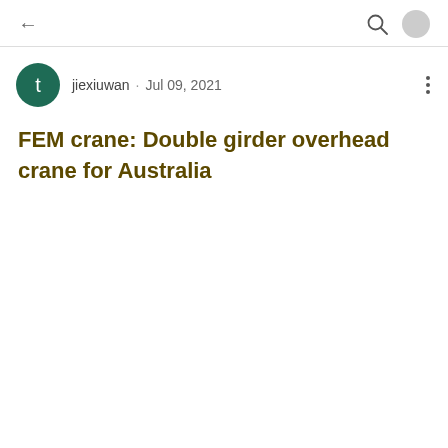← (back) | (search icon) (user avatar)
jiexiuwan · Jul 09, 2021
FEM crane: Double girder overhead crane for Australia